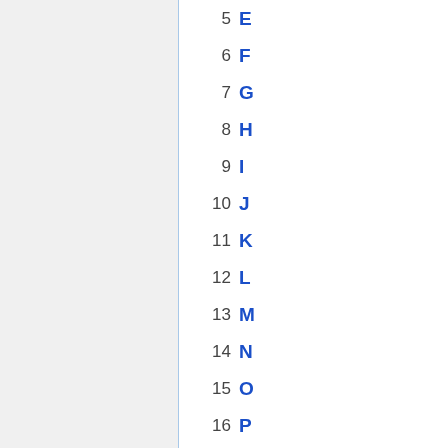5  E
6  F
7  G
8  H
9  I
10  J
11  K
12  L
13  M
14  N
15  O
16  P
17  Q
18  R
19  S
20  T
21  U
22  V
23  W
24  X